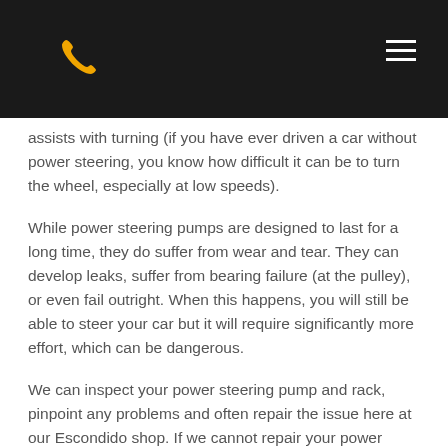[phone icon] [hamburger menu]
assists with turning (if you have ever driven a car without power steering, you know how difficult it can be to turn the wheel, especially at low speeds).
While power steering pumps are designed to last for a long time, they do suffer from wear and tear. They can develop leaks, suffer from bearing failure (at the pulley), or even fail outright. When this happens, you will still be able to steer your car but it will require significantly more effort, which can be dangerous.
We can inspect your power steering pump and rack, pinpoint any problems and often repair the issue here at our Escondido shop. If we cannot repair your power steering pump, we can offer an OEM-specific